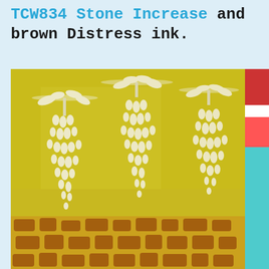TCW834 Stone Increase and brown Distress ink.
[Figure (photo): Close-up photograph of an art journal or canvas page showing embossed floral/botanical stencil design (hanging wisteria-like clusters) in cream/ivory on a yellow-green background, with a lower section showing a brown stone/mosaic pattern stencil over yellow. A sliver of a red and teal decorative element is visible on the right edge.]